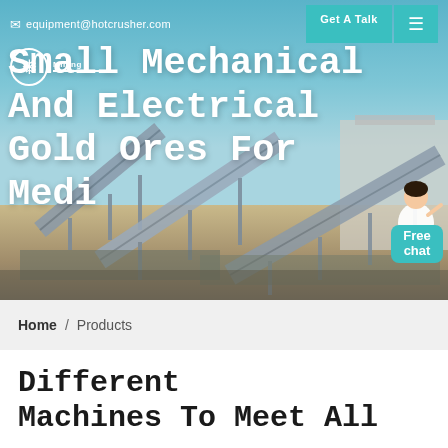equipment@hotcrusher.com   Get A Talk
[Figure (photo): Mining equipment / conveyor belt facility with blue sky background, serving as hero banner image for website]
Small Mechanical And Electrical Gold Ores For Medi
Free chat
Home / Products
Different Machines To Meet All